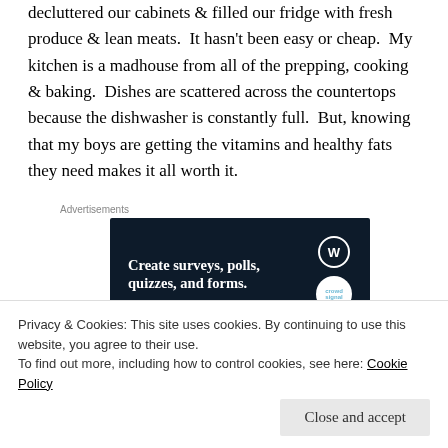decluttered our cabinets & filled our fridge with fresh produce & lean meats. It hasn't been easy or cheap. My kitchen is a madhouse from all of the prepping, cooking & baking. Dishes are scattered across the countertops because the dishwasher is constantly full. But, knowing that my boys are getting the vitamins and healthy fats they need makes it all worth it.
[Figure (other): Advertisement banner: dark navy background with text 'Create surveys, polls, quizzes, and forms.' with WordPress logo and crowd signal icon]
Of course, I'm not giving up my wine & there will be times
Privacy & Cookies: This site uses cookies. By continuing to use this website, you agree to their use.
To find out more, including how to control cookies, see here: Cookie Policy
Wish us luck!!!